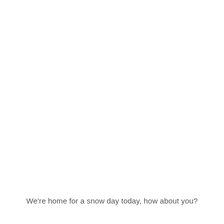We're home for a snow day today, how about you?